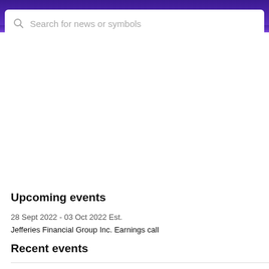risk, while 10 indicates higher governance risk
Search for news or symbols
Upcoming events
28 Sept 2022 - 03 Oct 2022 Est.
Jefferies Financial Group Inc. Earnings call
Recent events